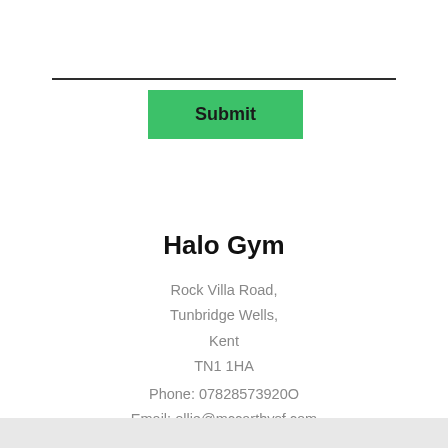[Figure (other): Green Submit button with dark horizontal rule above it]
Halo Gym
Rock Villa Road,
Tunbridge Wells,
Kent
TN1 1HA
Phone: 07828573920
Email: ollie@mccarthysf.com